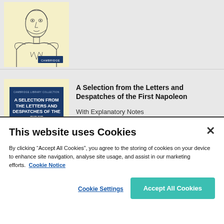[Figure (illustration): Book cover with yellow background showing a portrait illustration of Napoleon Bonaparte in military uniform, with a 'Cambridge' publisher label button in the lower right corner]
[Figure (illustration): Book cover with yellow background containing a dark navy blue inner cover titled 'A Selection From The Letters And Despatches Of The First' (text cut off), with 'Cambridge Library Collection' label at top]
A Selection from the Letters and Despatches of the First Napoleon
With Explanatory Notes
This website uses Cookies
By clicking “Accept All Cookies”, you agree to the storing of cookies on your device to enhance site navigation, analyse site usage, and assist in our marketing efforts.  Cookie Notice
Cookie Settings
Accept All Cookies